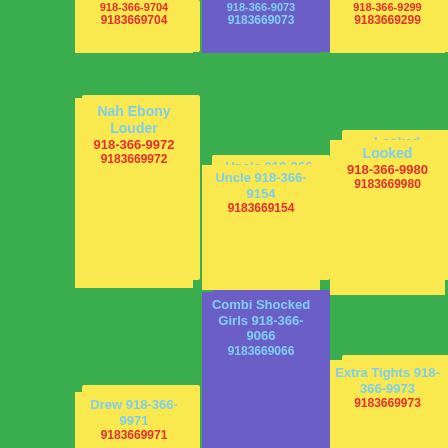9183669704
9183669073
9183669299
Nah Ebony Louder 918-366-9972 9183669972
Uncle 918-366-9154 9183669154
Looked 918-366-9980 9183669980
Drew 918-366-9971 9183669971
Combi Shocked Girls 918-366-9066 9183669066
Extra Tights 918-366-9973 9183669973
Ground Corridor Braver 918-366-9117 9183669117
Positively Charm 918-366-9896 9183669896
Sneaking Gorgons 918-366-9849 9183669849
Three
Punished